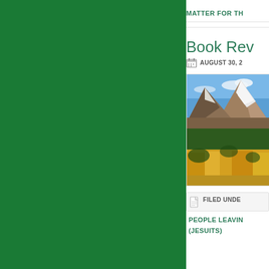MATTER FOR TH…
Book Rev…
AUGUST 30, 2…
[Figure (photo): Mountain landscape with snow-capped peaks, autumn yellow-orange trees and forest in foreground against blue sky]
FILED UNDE…
PEOPLE LEAVIN…
(JESUITS)